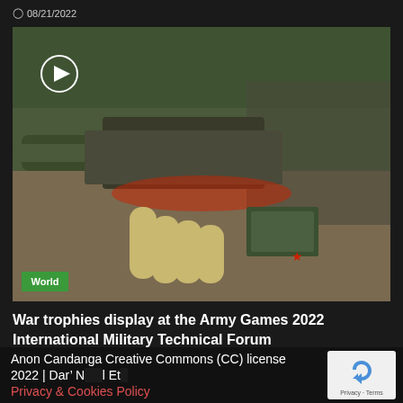08/21/2022
[Figure (photo): Military weapons display at Army Games 2022 International Military Technical Forum, showing captured war trophies including rocket launchers, artillery, and military personnel in uniform viewing the display outdoors. A 'World' badge is shown in the lower-left corner of the image.]
War trophies display at the Army Games 2022 International Military Technical Forum
08/21/2022
Anon Candanga Creative Commons (CC) license 2022 | Dar' N... ...l Et... Privacy & Cookies Policy